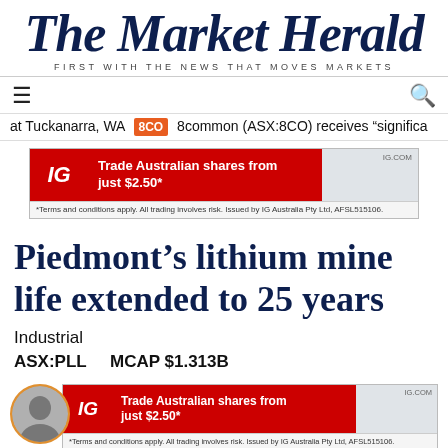[Figure (logo): The Market Herald logo with italic serif blackletter font and tagline 'FIRST WITH THE NEWS THAT MOVES MARKETS']
≡   Q
at Tuckanarra, WA  8CO  8common (ASX:8CO) receives "significa
[Figure (other): IG advertisement banner: Trade Australian shares from just $2.50* with disclaimer text]
Piedmont's lithium mine life extended to 25 years
Industrial
ASX:PLL    MCAP $1.313B
[Figure (other): IG advertisement banner (second): Trade Australian shares from just $2.50* with disclaimer text, with partial author avatar]